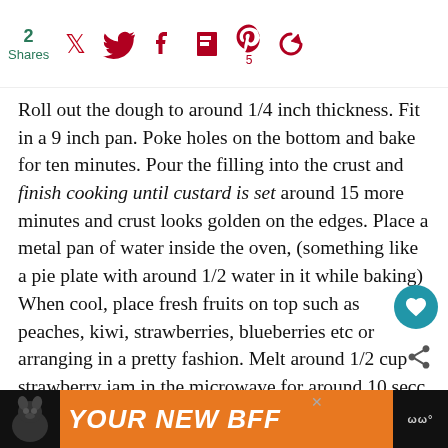2 Shares — social icons: Twitter, Facebook, Flipboard, Pinterest (5), Share
Roll out the dough to around 1/4 inch thickness. Fit in a 9 inch pan. Poke holes on the bottom and bake for ten minutes. Pour the filling into the crust and finish cooking until custard is set around 15 more minutes and crust looks golden on the edges. Place a metal pan of water inside the oven, (something like a pie plate with around 1/2 water in it while baking) When cool, place fresh fruits on top such as peaches, kiwi, strawberries, blueberries etc or arranging in a pretty fashion. Melt around 1/2 cup strawberry jam in the microwave for around 10 secc brush the tops of the fruit with the melted jam.
[Figure (other): Advertisement banner: dog image with orange background and text YOUR NEW BFF]